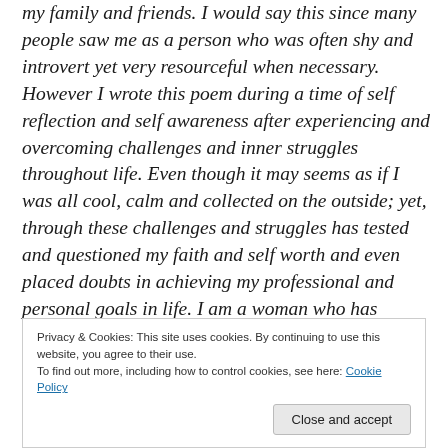my family and friends. I would say this since many people saw me as a person who was often shy and introvert yet very resourceful when necessary. However I wrote this poem during a time of self reflection and self awareness after experiencing and overcoming challenges and inner struggles throughout life. Even though it may seems as if I was all cool, calm and collected on the outside; yet, through these challenges and struggles has tested and questioned my faith and self worth and even placed doubts in achieving my professional and personal goals in life. I am a woman who has experienced pain, hope and especially love and has claimed triumph and victory as a
Privacy & Cookies: This site uses cookies. By continuing to use this website, you agree to their use.
To find out more, including how to control cookies, see here: Cookie Policy
Close and accept